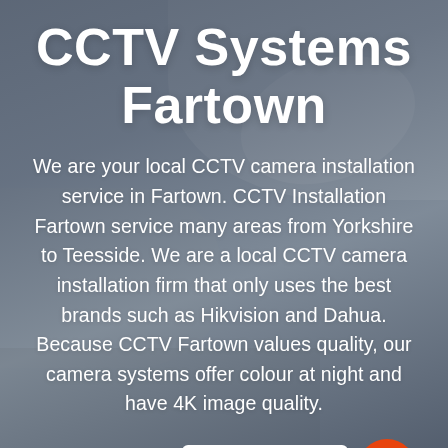[Figure (photo): Blurred background photo of hands holding or examining a document, overlaid with a dark grey-blue semi-transparent color wash]
CCTV Systems Fartown
We are your local CCTV camera installation service in Fartown. CCTV Installation Fartown service many areas from Yorkshire to Teesside. We are a local CCTV camera installation firm that only uses the best brands such as Hikvision and Dahua. Because CCTV Fartown values quality, our camera systems offer colour at night and have 4K image quality.
Contact Us